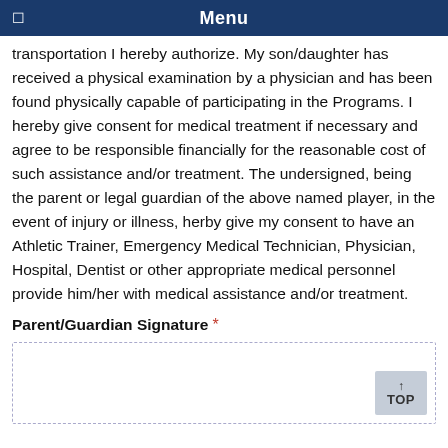Menu
transportation I hereby authorize. My son/daughter has received a physical examination by a physician and has been found physically capable of participating in the Programs. I hereby give consent for medical treatment if necessary and agree to be responsible financially for the reasonable cost of such assistance and/or treatment. The undersigned, being the parent or legal guardian of the above named player, in the event of injury or illness, herby give my consent to have an Athletic Trainer, Emergency Medical Technician, Physician, Hospital, Dentist or other appropriate medical personnel provide him/her with medical assistance and/or treatment.
Parent/Guardian Signature  *
[Figure (other): Signature input box with dashed border and a TOP navigation button in the bottom right corner]